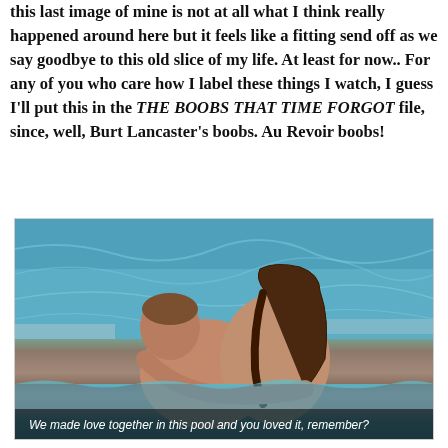this last image of mine is not at all what I think really happened around here but it feels like a fitting send off as we say goodbye to this old slice of my life. At least for now.. For any of you who care how I label these things I watch, I guess I'll put this in the THE BOOBS THAT TIME FORGOT file, since, well, Burt Lancaster's boobs. Au Revoir boobs!
[Figure (photo): A movie still showing two people embracing in a swimming pool, with subtitle text reading 'We made love together in this pool and you loved it, remember?']